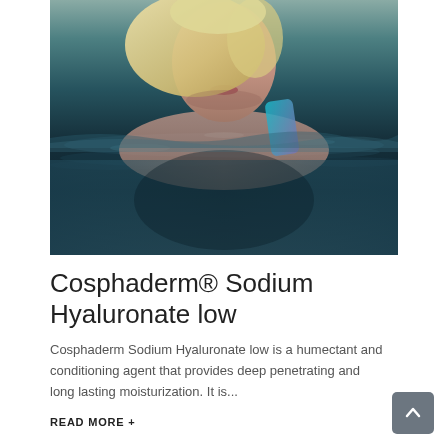[Figure (photo): Blonde woman swimming in dark water, head and shoulders visible above the water surface, wearing a colorful swimsuit]
Cosphaderm® Sodium Hyaluronate low
Cosphaderm Sodium Hyaluronate low is a humectant and conditioning agent that provides deep penetrating and long lasting moisturization. It is...
READ MORE +